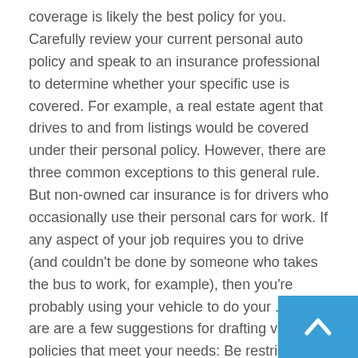coverage is likely the best policy for you. Carefully review your current personal auto policy and speak to an insurance professional to determine whether your specific use is covered. For example, a real estate agent that drives to and from listings would be covered under their personal policy. However, there are three common exceptions to this general rule. But non-owned car insurance is for drivers who occasionally use their personal cars for work. If any aspect of your job requires you to drive (and couldn't be done by someone who takes the bus to work, for example), then you're probably using your vehicle to do your ... Here are are a few suggestions for drafting vehicle policies that meet your needs: Be restrictive, but practical, about use of your vehicles. In fact, the fine for not having insurance coverage as a vehicle owner, lessee or driver can range from Personal vehicle insurance policies may or may not insure car owners for business use of their vehicles with or
[Figure (other): Blue scroll-to-top button with white upward chevron arrow, positioned at bottom-right corner of page]